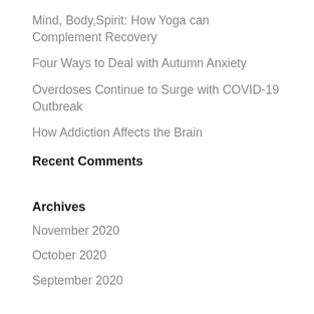Mind, Body,Spirit: How Yoga can Complement Recovery
Four Ways to Deal with Autumn Anxiety
Overdoses Continue to Surge with COVID-19 Outbreak
How Addiction Affects the Brain
Recent Comments
Archives
November 2020
October 2020
September 2020